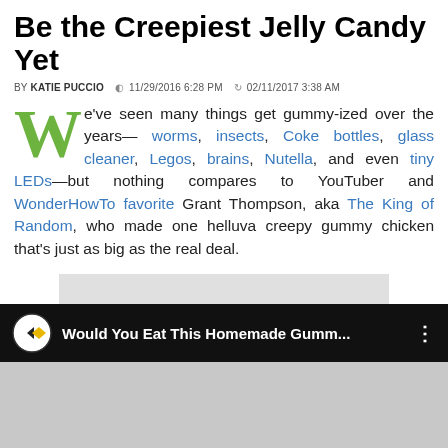Be the Creepiest Jelly Candy Yet
BY KATIE PUCCIO  11/29/2016 6:28 PM  02/11/2017 3:38 AM
We've seen many things get gummy-ized over the years—worms, insects, Coke bottles, glass cleaner, Legos, brains, Nutella, and even tiny LEDs—but nothing compares to YouTuber and WonderHowTo favorite Grant Thompson, aka The King of Random, who made one helluva creepy gummy chicken that's just as big as the real deal.
[Figure (other): Gray advertisement placeholder rectangle]
[Figure (screenshot): Video bar showing 'Would You Eat This Homemade Gumm...' with CrazyRussianHacker-style icon on black background]